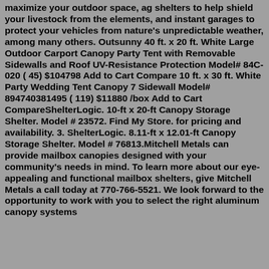maximize your outdoor space, ag shelters to help shield your livestock from the elements, and instant garages to protect your vehicles from nature's unpredictable weather, among many others. Outsunny 40 ft. x 20 ft. White Large Outdoor Carport Canopy Party Tent with Removable Sidewalls and Roof UV-Resistance Protection Model# 84C-020 ( 45) $104798 Add to Cart Compare 10 ft. x 30 ft. White Party Wedding Tent Canopy 7 Sidewall Model# 894740381495 ( 119) $11880 /box Add to Cart CompareShelterLogic. 10-ft x 20-ft Canopy Storage Shelter. Model # 23572. Find My Store. for pricing and availability. 3. ShelterLogic. 8.11-ft x 12.01-ft Canopy Storage Shelter. Model # 76813.Mitchell Metals can provide mailbox canopies designed with your community's needs in mind. To learn more about our eye-appealing and functional mailbox shelters, give Mitchell Metals a call today at 770-766-5521. We look forward to the opportunity to work with you to select the right aluminum canopy systems